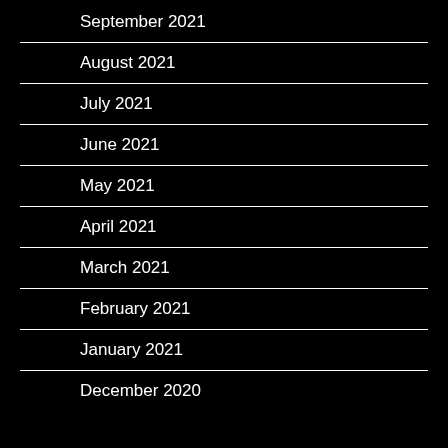September 2021
August 2021
July 2021
June 2021
May 2021
April 2021
March 2021
February 2021
January 2021
December 2020